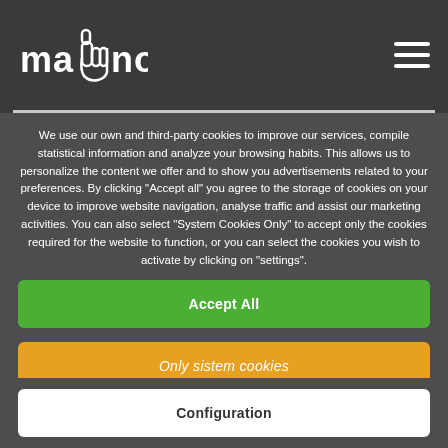[Figure (logo): ma[hand icon]no logo in white text on dark background]
We use our own and third-party cookies to improve our services, compile statistical information and analyze your browsing habits. This allows us to personalize the content we offer and to show you advertisements related to your preferences. By clicking "Accept all" you agree to the storage of cookies on your device to improve website navigation, analyse traffic and assist our marketing activities. You can also select "System Cookies Only" to accept only the cookies required for the website to function, or you can select the cookies you wish to activate by clicking on "settings".
Accept All
Only sistem cookies
Configuration